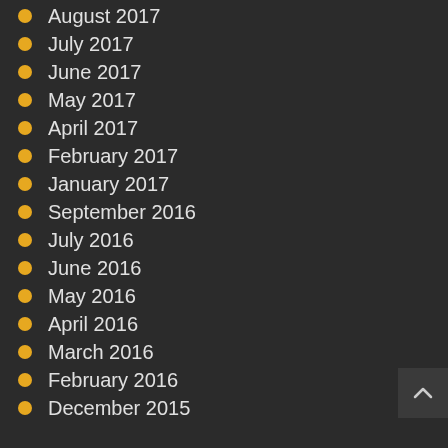August 2017
July 2017
June 2017
May 2017
April 2017
February 2017
January 2017
September 2016
July 2016
June 2016
May 2016
April 2016
March 2016
February 2016
December 2015